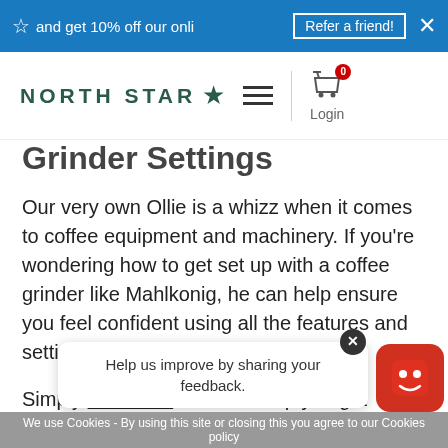and get 10% off our onli  Refer a friend!  ×
[Figure (screenshot): North Star logo with star icon, hamburger menu, shopping cart with badge showing 0, and Login link]
Grinder Settings
Our very own Ollie is a whizz when it comes to coffee equipment and machinery. If you're wondering how to get set up with a coffee grinder like Mahlkonig, he can help ensure you feel confident using all the features and settings.
Simply email him and he'll help you get started.
This is som... wholesale...
We use Cookies - By using this site or closing this you agree to our Cookies policy